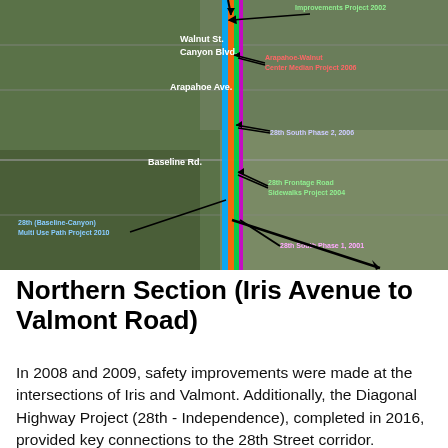[Figure (map): Aerial satellite map showing the 28th Street corridor in Boulder, Colorado. A vertical colored line (multi-colored: orange, blue, green, magenta) runs north-south through the center. Labeled road projects include: 28th (Baseline-Canyon) Multi Use Path Project 2010, 28th Frontage Road Sidewalks Project 2004, 28th South Phase 1 2001, 28th South Phase 2 2006, Arapahoe Walnut Center Median Project 2006, an Improvements Project 2002. Street labels include Walnut St., Canyon Blvd., Arapahoe Ave., Baseline Rd. Black arrows point to each labeled project.]
Northern Section (Iris Avenue to Valmont Road)
In 2008 and 2009, safety improvements were made at the intersections of Iris and Valmont. Additionally, the Diagonal Highway Project (28th - Independence), completed in 2016, provided key connections to the 28th Street corridor.